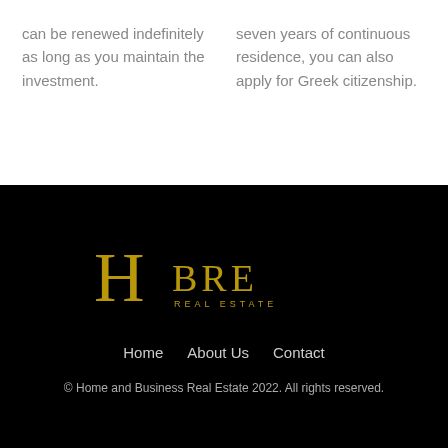can be renewed indefinitely as long as you maintain the investment.
seven years of continuous residence, you can also apply for Greek citizenship.
[Figure (logo): HBRE Real Estate logo in gold on black background]
Home   About Us   Contact
© Home and Business Real Estate 2022. All rights reserved.